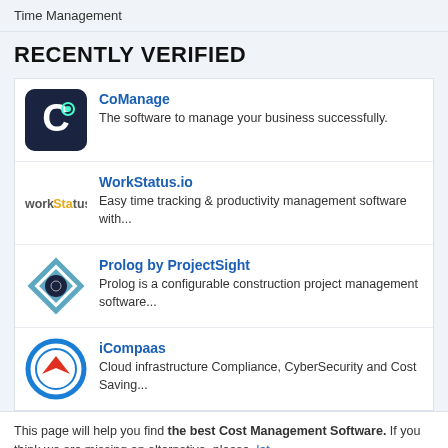Time Management
RECENTLY VERIFIED
CoManage — The software to manage your business successfully.
WorkStatus.io — Easy time tracking & productivity management software with...
Prolog by ProjectSight — Prolog is a configurable construction project management software...
iCompaas — Cloud infrastructure Compliance, CyberSecurity and Cost Saving...
This page will help you find the best Cost Management Software. If you think we are missing an alternative, please, let